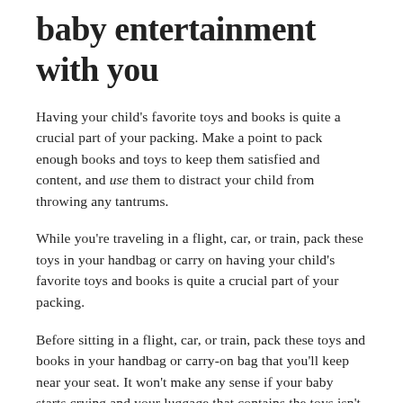baby entertainment with you
Having your child's favorite toys and books is quite a crucial part of your packing. Make a point to pack enough books and toys to keep them satisfied and content, and use them to distract your child from throwing any tantrums.
While you're traveling in a flight, car, or train, pack these toys in your handbag or carry on having your child's favorite toys and books is quite a crucial part of your packing.
Before sitting in a flight, car, or train, pack these toys and books in your handbag or carry-on bag that you'll keep near your seat. It won't make any sense if your baby starts crying and your luggage that contains the toys isn't with you. So, it is better to always pay attention to this tiny detail.